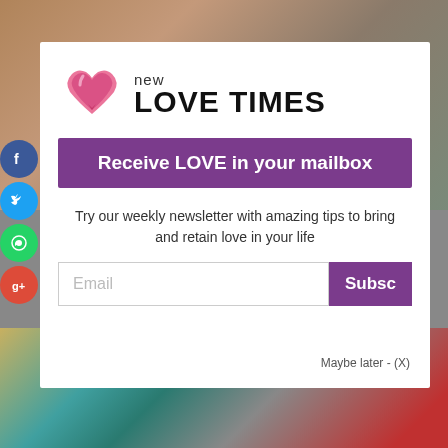[Figure (screenshot): New Love Times website newsletter signup modal popup with logo, purple banner, description text, email input, subscribe button, and social share icons on the left. Background shows blurred lifestyle images.]
new LOVE TIMES
Receive LOVE in your mailbox
Try our weekly newsletter with amazing tips to bring and retain love in your life
Email
Subsc
Maybe later - (X)